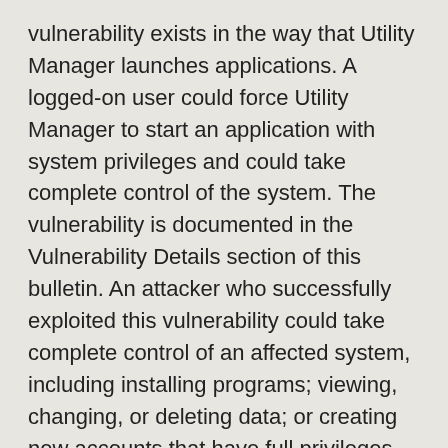vulnerability exists in the way that Utility Manager launches applications. A logged-on user could force Utility Manager to start an application with system privileges and could take complete control of the system. The vulnerability is documented in the Vulnerability Details section of this bulletin. An attacker who successfully exploited this vulnerability could take complete control of an affected system, including installing programs; viewing, changing, or deleting data; or creating new accounts that have full privileges.
http://www.microsoft.com/technet/security/Bulletin/MS04-019.mspx
MS04-020: Vulnerability in POSIX Could Allow Code Execution (841872)This update resolves a newly-discovered, privately reported vulnerability. A privilege